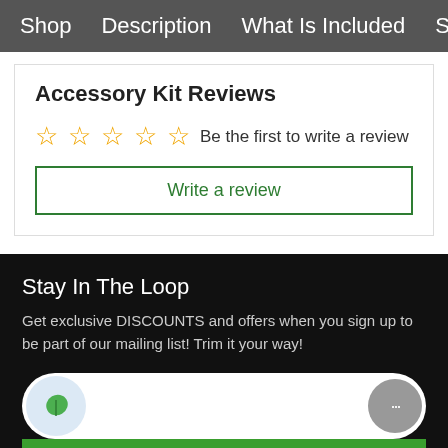Shop   Description   What Is Included   Shipp
Accessory Kit Reviews
☆☆☆☆☆  Be the first to write a review
Write a review
Stay In The Loop
Get exclusive DISCOUNTS and offers when you sign up to be part of our mailing list! Trim it your way!
[Figure (screenshot): Email input field with leaf icon on left and chat icon on right, followed by a green Sign Up button]
Sign Up